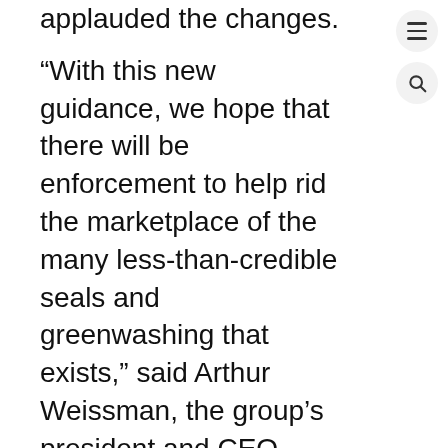applauded the changes.
“With this new guidance, we hope that there will be enforcement to help rid the marketplace of the many less-than-credible seals and greenwashing that exists,” said Arthur Weissman, the group’s president and CEO.